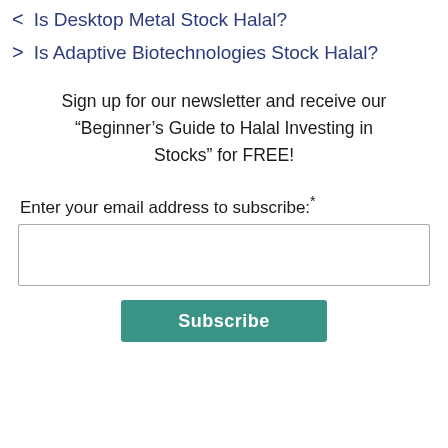< Is Desktop Metal Stock Halal?
> Is Adaptive Biotechnologies Stock Halal?
Sign up for our newsletter and receive our “Beginner’s Guide to Halal Investing in Stocks” for FREE!
Enter your email address to subscribe:*